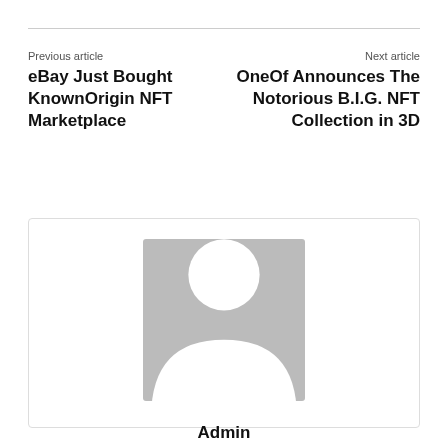Previous article
eBay Just Bought KnownOrigin NFT Marketplace
Next article
OneOf Announces The Notorious B.I.G. NFT Collection in 3D
[Figure (illustration): Generic user avatar placeholder image — grey square with white silhouette of a person]
Admin
https://cryptomorningpost.com/